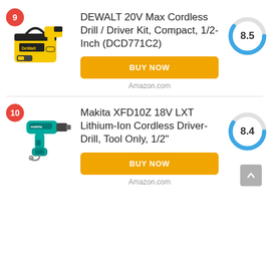[Figure (photo): DEWALT drill kit product photo with yellow/black drill, bag and accessories]
9
DEWALT 20V Max Cordless Drill / Driver Kit, Compact, 1/2-Inch (DCD771C2)
[Figure (donut-chart): Circular gauge showing score 8.5, blue arc ~85% fill]
BUY NOW
Amazon.com
[Figure (photo): Makita XFD10Z teal/black cordless drill product photo]
10
Makita XFD10Z 18V LXT Lithium-Ion Cordless Driver-Drill, Tool Only, 1/2"
[Figure (donut-chart): Circular gauge showing score 8.4, blue arc ~84% fill]
BUY NOW
Amazon.com